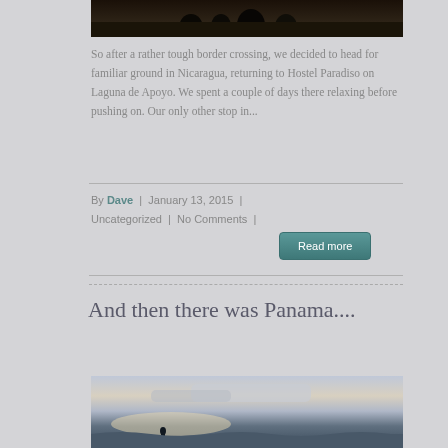[Figure (photo): Partial top image showing dark scene with figures at top of page]
So after a rather tough border crossing, we decided to head for familiar ground in Nicaragua, returning to Hostel Paradiso on Laguna de Apoyo. We spent a couple of days there relaxing before pushing on. Our only other stop in...
By Dave | January 13, 2015 | Uncategorized | No Comments |
Read more
And then there was Panama....
[Figure (photo): Beach scene with silhouette of person, ocean and dramatic sky at sunset/sunrise]